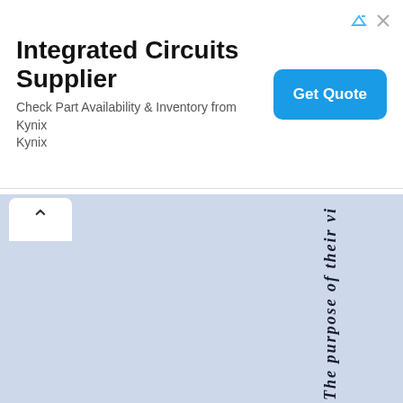[Figure (screenshot): Advertisement banner for Integrated Circuits Supplier - Kynix. Shows title 'Integrated Circuits Supplier', subtitle 'Check Part Availability & Inventory from Kynix Kynix', and a blue 'Get Quote' button on the right. Navigation/close icons top right.]
The purpose of their vi...